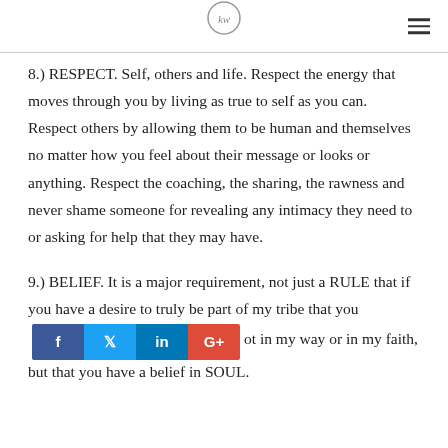[Logo icon] [hamburger menu]
8.) RESPECT. Self, others and life. Respect the energy that moves through you by living as true to self as you can. Respect others by allowing them to be human and themselves no matter how you feel about their message or looks or anything. Respect the coaching, the sharing, the rawness and never shame someone for revealing any intimacy they need to or asking for help that they may have.
9.) BELIEF. It is a major requirement, not just a RULE that if you have a desire to truly be part of my tribe that you [social share bar] ot in my way or in my faith, but that you have a belief in SOUL.